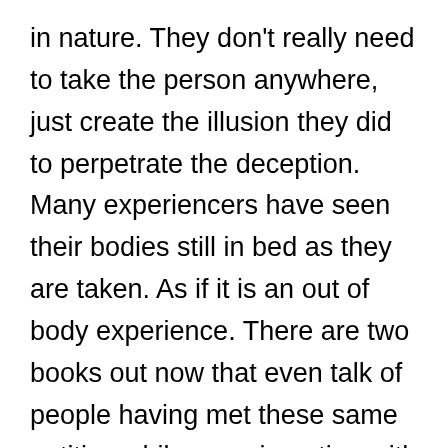in nature. They don't really need to take the person anywhere, just create the illusion they did to perpetrate the deception. Many experiencers have seen their bodies still in bed as they are taken. As if it is an out of body experience. There are two books out now that even talk of people having met these same entities while experimenting with the drug DMT. How is that possible? I believe what many people mistake, as the high technology of these entities is actually their abilities. Abilities that is natural to them. The ability to have us see what they want us to see. The ability to manifest into physicality. The ability to shape shift